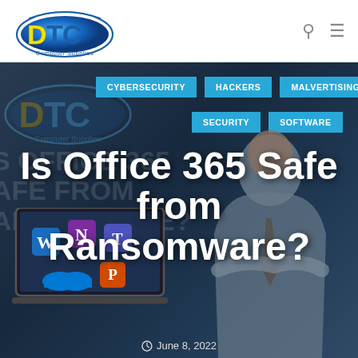[Figure (logo): DTC Computer Supplies logo with blue ellipse and yellow/blue DTC text]
CYBERSECURITY
HACKERS
MALVERTISING
SECURITY
SOFTWARE
Is Office 365 Safe from Ransomware?
[Figure (photo): Hero background image showing a man in business attire with arms crossed, and a laptop with Microsoft Office 365 icons, overlaid with article title text]
June 8, 2022